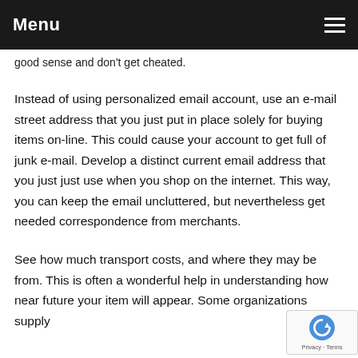Menu
good sense and don't get cheated.
Instead of using personalized email account, use an e-mail street address that you just put in place solely for buying items on-line. This could cause your account to get full of junk e-mail. Develop a distinct current email address that you just just use when you shop on the internet. This way, you can keep the email uncluttered, but nevertheless get needed correspondence from merchants.
See how much transport costs, and where they may be from. This is often a wonderful help in understanding how near future your item will appear. Some organizations supply